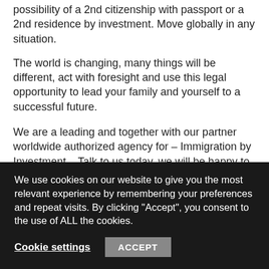possibility of a 2nd citizenship with passport or a 2nd residence by investment. Move globally in any situation.
The world is changing, many things will be different, act with foresight and use this legal opportunity to lead your family and yourself to a successful future.
We are a leading and together with our partner worldwide authorized agency for – Immigration by Investment – Talk to us today, we will be happy to advise you.
Treat yourself or your family, to this new fantastic quality of life and talk to us about it. We are one of the world's leading agencies when it comes to immigration professionalism
We use cookies on our website to give you the most relevant experience by remembering your preferences and repeat visits. By clicking "Accept", you consent to the use of ALL the cookies.
Cookie settings
ACCEPT